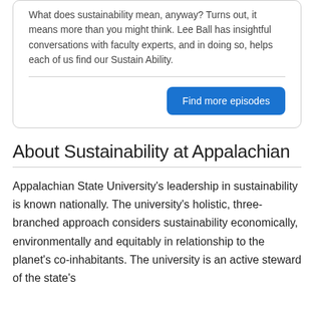What does sustainability mean, anyway? Turns out, it means more than you might think. Lee Ball has insightful conversations with faculty experts, and in doing so, helps each of us find our Sustain Ability.
Find more episodes
About Sustainability at Appalachian
Appalachian State University's leadership in sustainability is known nationally. The university's holistic, three-branched approach considers sustainability economically, environmentally and equitably in relationship to the planet's co-inhabitants. The university is an active steward of the state's